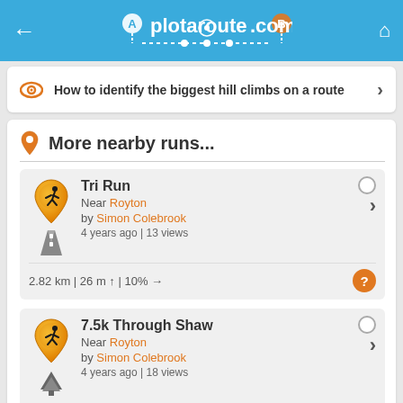plotaroute.com
How to identify the biggest hill climbs on a route
More nearby runs...
Tri Run | Near Royton | by Simon Colebrook | 4 years ago | 13 views | 2.82 km | 26 m ↑ | 10% →
7.5k Through Shaw | Near Royton | by Simon Colebrook | 4 years ago | 18 views | 7.54 km | 76 m ↑ | 18% →
7.1k Weekend | Near Royton